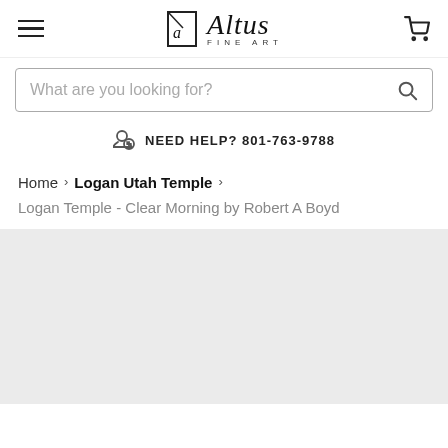Altus Fine Art – Navigation header with hamburger menu, logo, and cart icon
What are you looking for?
NEED HELP? 801-763-9788
Home > Logan Utah Temple > Logan Temple - Clear Morning by Robert A Boyd
[Figure (photo): Light gray placeholder area for product image of Logan Temple - Clear Morning by Robert A Boyd]